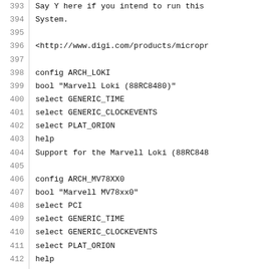Source code / Kconfig file lines 393-414 showing config entries for ARCH_LOKI and ARCH_MV78XX0